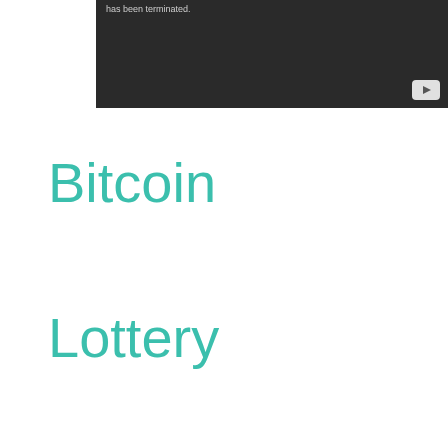[Figure (screenshot): Dark YouTube video embed showing a terminated video message with a YouTube play button icon in the bottom right corner. Text reads 'has been terminated.']
Bitcoin
Lottery